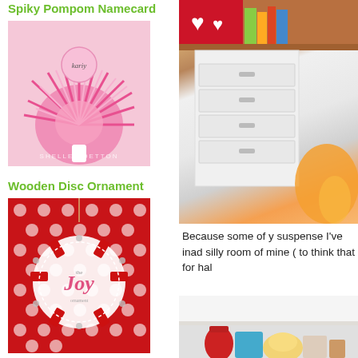Spiky Pompom Namecard
[Figure (photo): A pink spiky pompom namecard holder with a circular pink namecard labeled 'kariy', watermarked 'SHELLEY DETTON']
Wooden Disc Ornament
[Figure (photo): A wooden disc ornament with 'Joy' written in pink cursive on a white circle, decorated with red ribbon loops and silver accents, on a red polka dot background]
[Figure (photo): A white drawer unit on a wooden desk with red heart decorations and colorful books in the background, with orange scissors/tools in the foreground]
Because some of y suspense I've inad silly room of mine ( to think that for hal
[Figure (photo): Partial view of a craft room showing a red object, teal container, and golden round object on a shelf or floor]